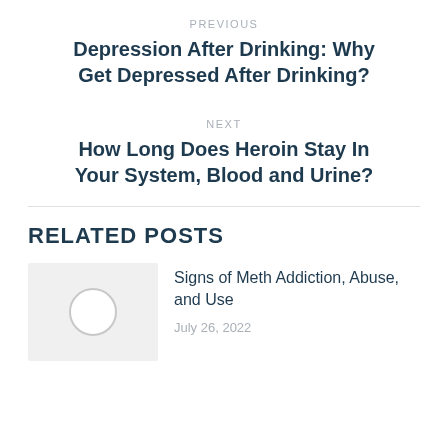PREVIOUS
Depression After Drinking: Why Get Depressed After Drinking?
NEXT
How Long Does Heroin Stay In Your System, Blood and Urine?
RELATED POSTS
Signs of Meth Addiction, Abuse, and Use
July 26, 2022